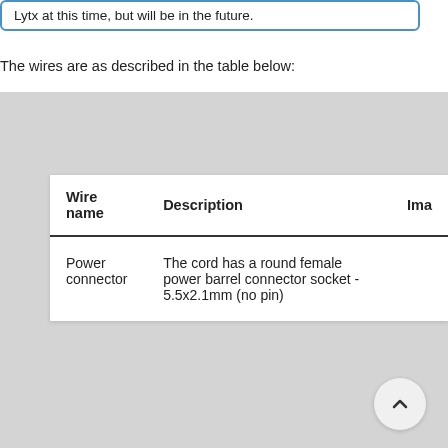Lytx at this time, but will be in the future.
The wires are as described in the table below:
| Wire name | Description | Image |
| --- | --- | --- |
| Power connector | The cord has a round female power barrel connector socket - 5.5x2.1mm (no pin) |  |